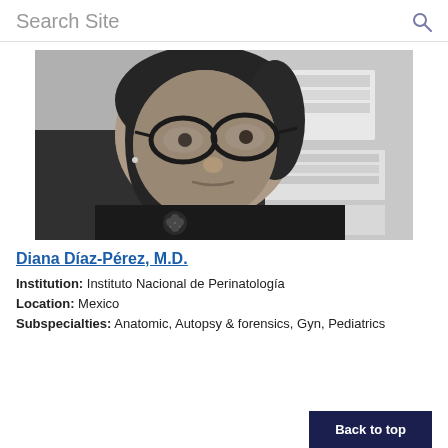Search Site
[Figure (photo): Black and white selfie photo of Diana Díaz-Pérez, a woman wearing glasses, with papers and shelves visible in the background]
Diana Díaz-Pérez, M.D.
Institution: Instituto Nacional de Perinatología
Location: Mexico
Subspecialties: Anatomic, Autopsy & forensics, Gyn, Pediatrics
Back to top